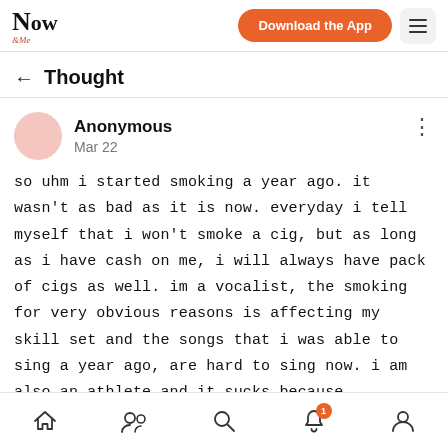Now &Me — Download the App
← Thought
Anonymous
Mar 22
so uhm i started smoking a year ago. it wasn't as bad as it is now. everyday i tell myself that i won't smoke a cig, but as long as i have cash on me, i will always have pack of cigs as well. im a vocalist, the smoking for very obvious reasons is affecting my skill set and the songs that i was able to sing a year ago, are hard to sing now. i am also an athlete and it sucks because
Home | Community | Search | Notifications (1) | Profile